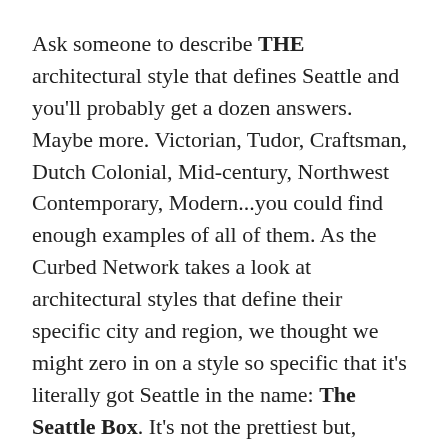Ask someone to describe THE architectural style that defines Seattle and you'll probably get a dozen answers. Maybe more. Victorian, Tudor, Craftsman, Dutch Colonial, Mid-century, Northwest Contemporary, Modern...you could find enough examples of all of them. As the Curbed Network takes a look at architectural styles that define their specific city and region, we thought we might zero in on a style so specific that it's literally got Seattle in the name: The Seattle Box. It's not the prettiest but, dammit, it's ours.
So what is a Seattle box house and how do you spot one? It's fairly easy, really. This local subset of the foursquare home was all the rage in the early 20th century as Seattle was starting to come into it's own. Seattle box houses are about to be cut off at the bottom of this page.